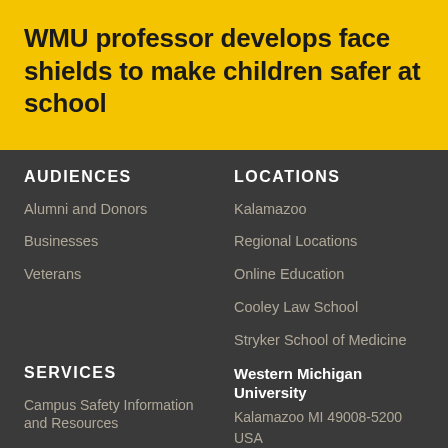WMU professor develops face shields to make children safer at school
AUDIENCES
Alumni and Donors
Businesses
Veterans
LOCATIONS
Kalamazoo
Regional Locations
Online Education
Cooley Law School
Stryker School of Medicine
SERVICES
Campus Safety Information and Resources
Human Resources
Western Michigan University
Kalamazoo MI 49008-5200
USA
(269) 387-1000